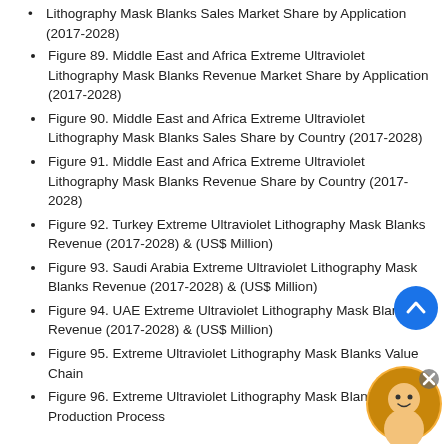Lithography Mask Blanks Sales Market Share by Application (2017-2028)
Figure 89. Middle East and Africa Extreme Ultraviolet Lithography Mask Blanks Revenue Market Share by Application (2017-2028)
Figure 90. Middle East and Africa Extreme Ultraviolet Lithography Mask Blanks Sales Share by Country (2017-2028)
Figure 91. Middle East and Africa Extreme Ultraviolet Lithography Mask Blanks Revenue Share by Country (2017-2028)
Figure 92. Turkey Extreme Ultraviolet Lithography Mask Blanks Revenue (2017-2028) & (US$ Million)
Figure 93. Saudi Arabia Extreme Ultraviolet Lithography Mask Blanks Revenue (2017-2028) & (US$ Million)
Figure 94. UAE Extreme Ultraviolet Lithography Mask Blanks Revenue (2017-2028) & (US$ Million)
Figure 95. Extreme Ultraviolet Lithography Mask Blanks Value Chain
Figure 96. Extreme Ultraviolet Lithography Mask Blanks Production Process